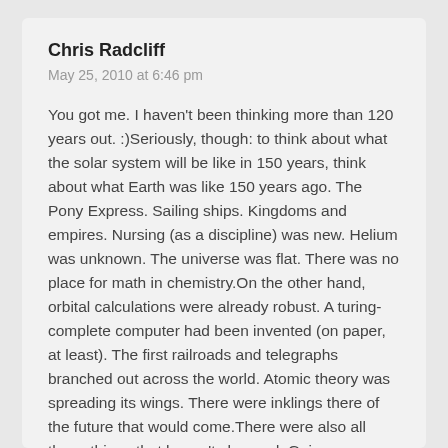Chris Radcliff
May 25, 2010 at 6:46 pm
You got me. I haven't been thinking more than 120 years out. :)Seriously, though: to think about what the solar system will be like in 150 years, think about what Earth was like 150 years ago. The Pony Express. Sailing ships. Kingdoms and empires. Nursing (as a discipline) was new. Helium was unknown. The universe was flat. There was no place for math in chemistry.On the other hand, orbital calculations were already robust. A turing-complete computer had been invented (on paper, at least). The first railroads and telegraphs branched out across the world. Atomic theory was spreading its wings. There were inklings there of the future that would come.There were also all those things that haven't changed: Guinness. Tomato ketchup. Popcorn. Dancing at parties. Fighting over trade